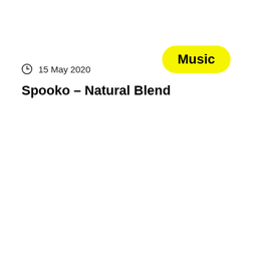Music
15 May 2020
Spooko – Natural Blend